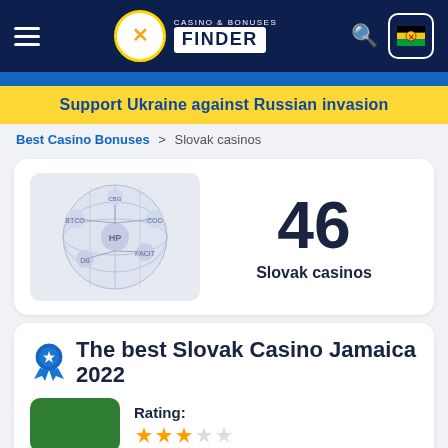CASINO & BONUSES FINDER
Support Ukraine against Russian invasion
Best Casino Bonuses > Slovak casinos
[Figure (infographic): Globe/network diagram showing connected nodes with casino-related labels, displayed in a blue-grey bubble style on a light background]
46 Slovak casinos
The best Slovak Casino Jamaica 2022
Rating: